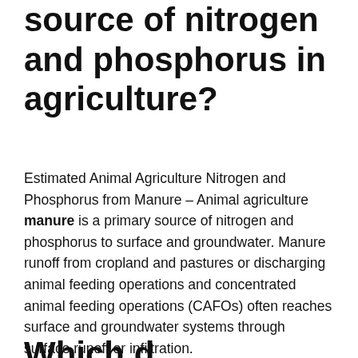source of nitrogen and phosphorus in agriculture?
Estimated Animal Agriculture Nitrogen and Phosphorus from Manure – Animal agriculture manure is a primary source of nitrogen and phosphorus to surface and groundwater. Manure runoff from cropland and pastures or discharging animal feeding operations and concentrated animal feeding operations (CAFOs) often reaches surface and groundwater systems through surface runoff or infiltration.
Which d...